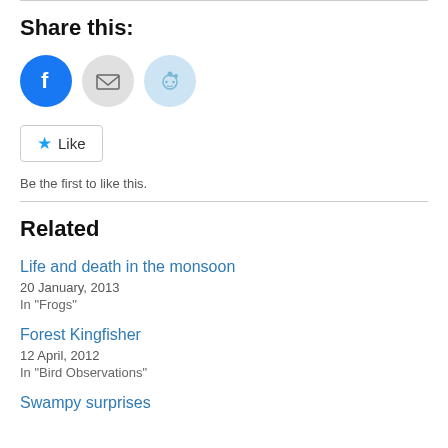Share this:
[Figure (infographic): Three social share buttons: Facebook (blue circle with 'f' icon), Email (grey circle with envelope icon), Reddit (light blue circle with Reddit alien icon)]
Like
Be the first to like this.
Related
Life and death in the monsoon
20 January, 2013
In "Frogs"
Forest Kingfisher
12 April, 2012
In "Bird Observations"
Swampy surprises